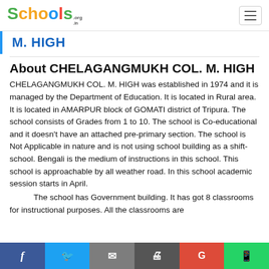Schools.org.in
M. HIGH
About CHELAGANGMUKH COL. M. HIGH
CHELAGANGMUKH COL. M. HIGH was established in 1974 and it is managed by the Department of Education. It is located in Rural area. It is located in AMARPUR block of GOMATI district of Tripura. The school consists of Grades from 1 to 10. The school is Co-educational and it doesn't have an attached pre-primary section. The school is Not Applicable in nature and is not using school building as a shift-school. Bengali is the medium of instructions in this school. This school is approachable by all weather road. In this school academic session starts in April.
The school has Government building. It has got 8 classrooms for instructional purposes. All the classrooms are
f  Twitter  Email  Print  G  WhatsApp